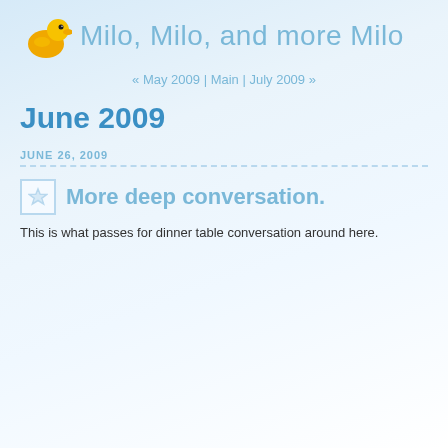Milo, Milo, and more Milo
« May 2009 | Main | July 2009 »
June 2009
JUNE 26, 2009
More deep conversation.
This is what passes for dinner table conversation around here.